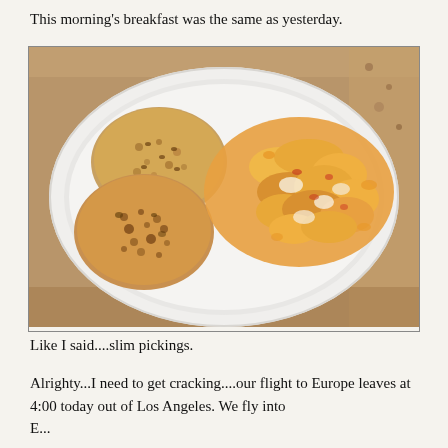This morning's breakfast was the same as yesterday.
[Figure (photo): A white plate with two English muffin halves (one whole, one cut) on the left side and scrambled eggs with vegetables on the right side, set on a granite countertop.]
Like I said....slim pickings.
Alrighty...I need to get cracking....our flight to Europe leaves at 4:00 today out of Los Angeles. We fly into Europe...date from a few days on the calendar, for the...